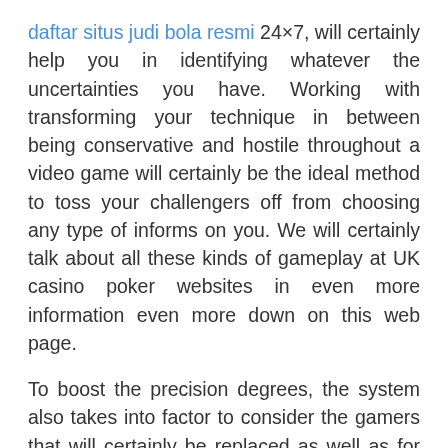daftar situs judi bola resmi 24×7, will certainly help you in identifying whatever the uncertainties you have. Working with transforming your technique in between being conservative and hostile throughout a video game will certainly be the ideal method to toss your challengers off from choosing any type of informs on you. We will certainly talk about all these kinds of gameplay at UK casino poker websites in even more information even more down on this web page.
To boost the precision degrees, the system also takes into factor to consider the gamers that will certainly be replaced as well as for how long they will certainly be playing. As a result, instead than risking your cash on un-trusted and also un-tested websites, it is constantly far better to